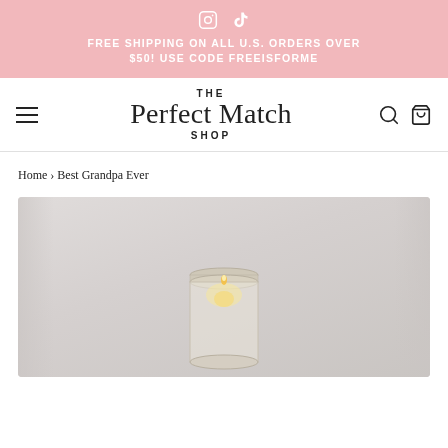FREE SHIPPING ON ALL U.S. ORDERS OVER $50! USE CODE FREEISFORME
[Figure (logo): The Perfect Match Shop logo with script font and sans-serif THE and SHOP text]
Home › Best Grandpa Ever
[Figure (photo): Photo of a glass candle jar with warm glowing light, set against a soft white/grey draped background]